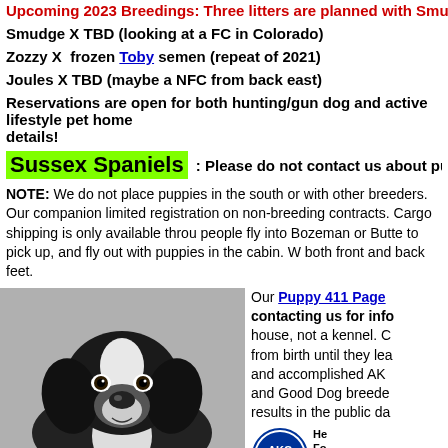Upcoming 2023 Breedings: Three litters are planned with Smudge, 2023 and…
Smudge X TBD (looking at a FC in Colorado)
Zozzy X  frozen Toby semen (repeat of 2021)
Joules X TBD (maybe a NFC from back east)
Reservations are open for both hunting/gun dog and active lifestyle pet home details!
Sussex Spaniels : Please do not contact us about puppies! We are
NOTE: We do not place puppies in the south or with other breeders. Our companion limited registration on non-breeding contracts. Cargo shipping is only available throu people fly into Bozeman or Butte to pick up, and fly out with puppies in the cabin. W both front and back feet.
[Figure (photo): Black and white photo of a Springer Spaniel puppy looking at the camera]
Our Puppy 411 Page contacting us for info house, not a kennel. C from birth until they lea and accomplished AK and Good Dog breede results in the public da